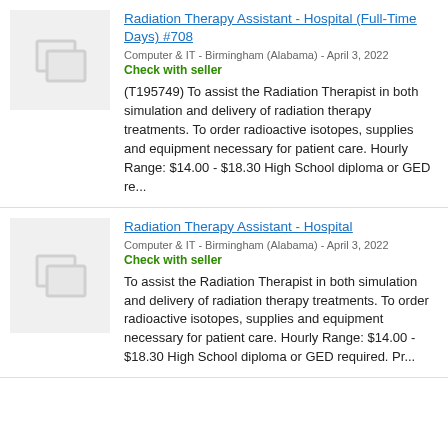Radiation Therapy Assistant - Hospital (Full-Time Days) #708
Computer & IT - Birmingham (Alabama) - April 3, 2022
Check with seller
(T195749) To assist the Radiation Therapist in both simulation and delivery of radiation therapy treatments. To order radioactive isotopes, supplies and equipment necessary for patient care. Hourly Range: $14.00 - $18.30 High School diploma or GED re...
Radiation Therapy Assistant - Hospital
Computer & IT - Birmingham (Alabama) - April 3, 2022
Check with seller
To assist the Radiation Therapist in both simulation and delivery of radiation therapy treatments. To order radioactive isotopes, supplies and equipment necessary for patient care. Hourly Range: $14.00 - $18.30 High School diploma or GED required. Pr...